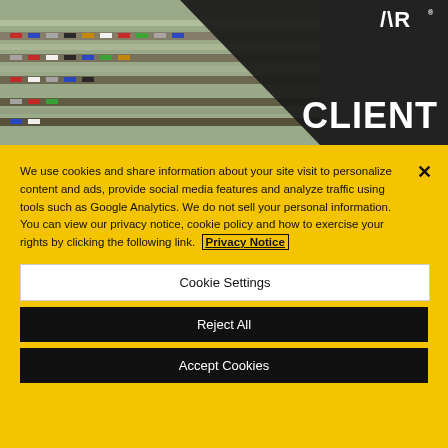[Figure (photo): Aerial view of a large car lot/parking facility with rows of vehicles, partially overlaid with a dark triangular graphic. A logo appears top right. Text 'CLIENT' overlaid in white on the dark area.]
We use cookies and share information about your site visit to personalize content and ads, provide social media features and analyze traffic using tools such as Google Analytics. We do not sell your personal information. You can view our privacy notice, cookie policy and how to exercise your rights by clicking the following link. Privacy Notice
Cookie Settings
Reject All
Accept Cookies